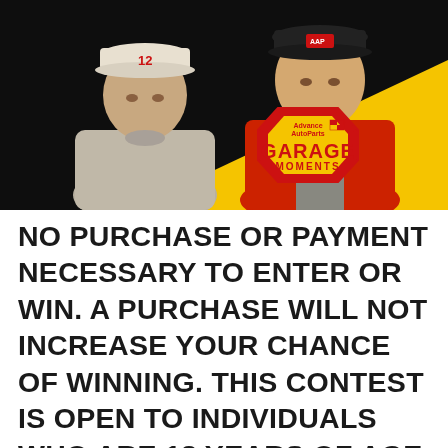[Figure (photo): Photo of two men (NASCAR drivers/personalities) against dark background with yellow triangle accent and Advance Auto Parts Garage Moments logo badge in lower right]
NO PURCHASE OR PAYMENT NECESSARY TO ENTER OR WIN. A PURCHASE WILL NOT INCREASE YOUR CHANCE OF WINNING. THIS CONTEST IS OPEN TO INDIVIDUALS WHO ARE 18 YEARS OF AGE OR OLDER RESIDING IN THE 50 UNITED STATES, DISTRICT OF COLUMBIA, AND PUERTO RICO